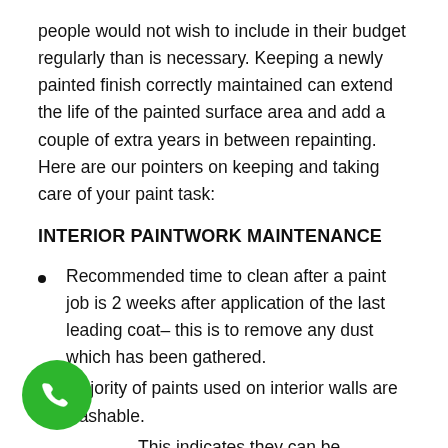people would not wish to include in their budget regularly than is necessary. Keeping a newly painted finish correctly maintained can extend the life of the painted surface area and add a couple of extra years in between repainting. Here are our pointers on keeping and taking care of your paint task:
INTERIOR PAINTWORK MAINTENANCE
Recommended time to clean after a paint job is 2 weeks after application of the last leading coat– this is to remove any dust which has been gathered.
Majority of paints used on interior walls are washable.
This indicates they can be periodically cleaned up with a milk soap water service. Utilizing a sponge and mild soap solution gently scrub the locations that